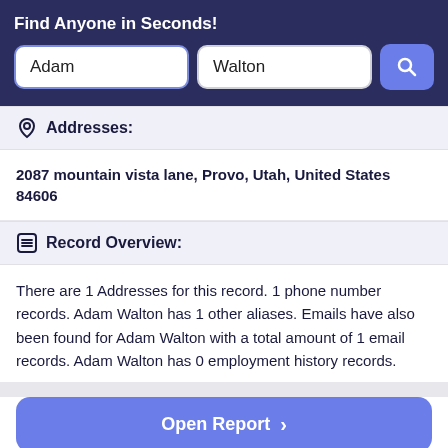Find Anyone in Seconds!
Adam
Walton
Addresses:
2087 mountain vista lane, Provo, Utah, United States 84606
Record Overview:
There are 1 Addresses for this record. 1 phone number records. Adam Walton has 1 other aliases. Emails have also been found for Adam Walton with a total amount of 1 email records. Adam Walton has 0 employment history records.
Open Report >
Quick Overview